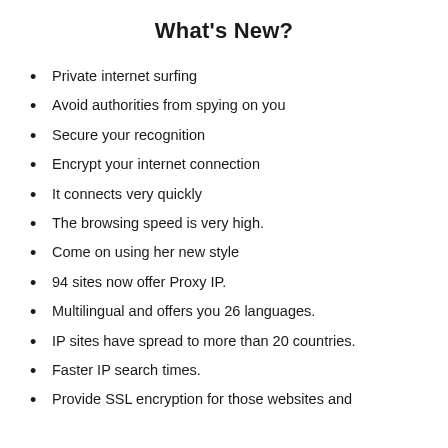What's New?
Private internet surfing
Avoid authorities from spying on you
Secure your recognition
Encrypt your internet connection
It connects very quickly
The browsing speed is very high.
Come on using her new style
94 sites now offer Proxy IP.
Multilingual and offers you 26 languages.
IP sites have spread to more than 20 countries.
Faster IP search times.
Provide SSL encryption for those websites and